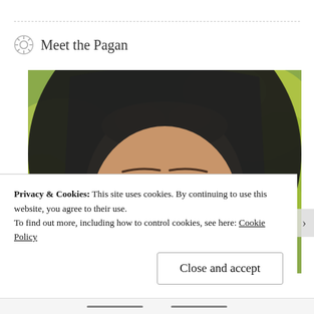Meet the Pagan
[Figure (photo): Close-up selfie of a woman wearing a black hood and tortoiseshell glasses, with yellow-green foliage visible in the background.]
Privacy & Cookies: This site uses cookies. By continuing to use this website, you agree to their use.
To find out more, including how to control cookies, see here: Cookie Policy
Close and accept